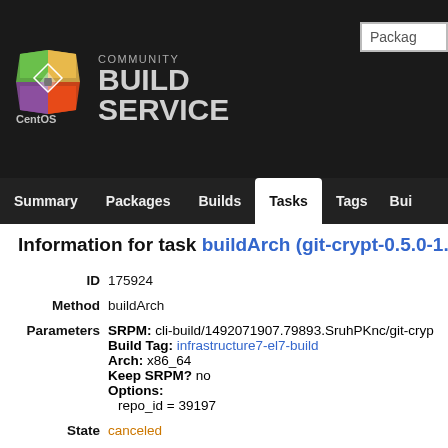[Figure (logo): CentOS Community Build Service logo with colorful diamond/cross icon and CentOS text]
COMMUNITY BUILD SERVICE
Summary | Packages | Builds | Tasks | Tags | Bui...
Information for task buildArch (git-crypt-0.5.0-1...
| Field | Value |
| --- | --- |
| ID | 175924 |
| Method | buildArch |
| Parameters | SRPM: cli-build/1492071907.79893.SruhPKnc/git-cryp...
Build Tag: infrastructure7-el7-build
Arch: x86_64
Keep SRPM? no
Options:
  repo_id = 39197 |
| State | canceled |
| Created | Thu, 13 Apr 2017 08:25:11 UTC |
| Started | Thu, 13 Apr 2017 08:25:19 UTC |